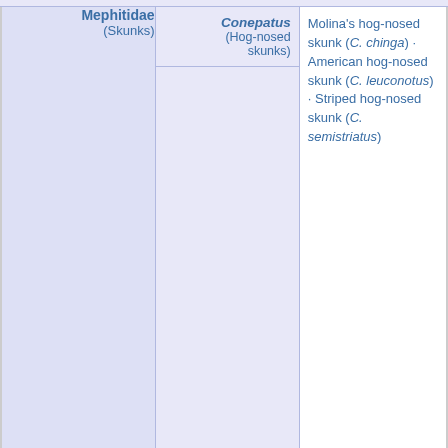| Family | Genus | Species |
| --- | --- | --- |
| Mephitidae (Skunks) | Conepatus (Hog-nosed skunks) | Molina's hog-nosed skunk (C. chinga) · American hog-nosed skunk (C. leuconotus) · Striped hog-nosed skunk (C. semistriatus) |
|  | Mephitis | Hooded skunk (M. macroura) · Striped skunk (M. mephitis) |
|  | Mydaus | Sunda stink badger (M. javanensis) · |